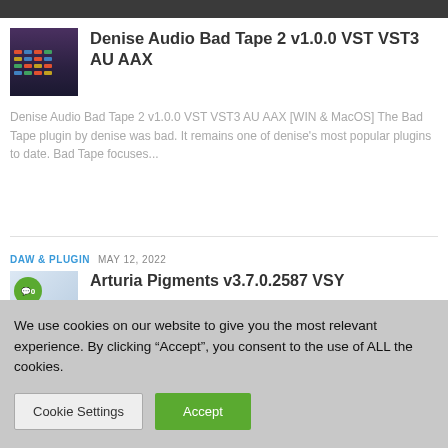[Figure (screenshot): Thumbnail image of Denise Audio Bad Tape 2 plugin interface showing dark purple/black UI with colored knobs]
Denise Audio Bad Tape 2 v1.0.0 VST VST3 AU AAX
Denise Audio Bad Tape 2 v1.0.0 VST VST3 AU AAX [WIN & MacOS] The Bad Tape plugin by denise was bad. It remains one of denise's most popular plugins to date. Bad Tape focuses...
DAW & PLUGIN   MAY 12, 2022
[Figure (screenshot): Thumbnail image of Arturia Pigments plugin with green badge and comment icon showing 0 comments]
Arturia Pigments v3.7.0.2587 VSY
We use cookies on our website to give you the most relevant experience. By clicking “Accept”, you consent to the use of ALL the cookies.